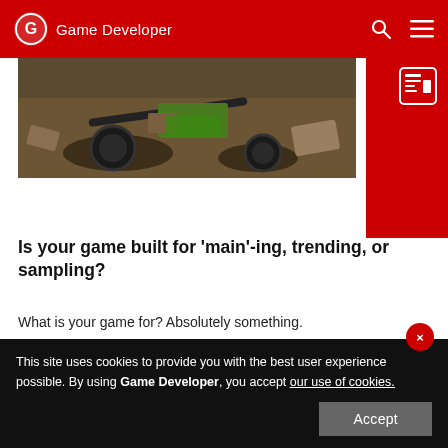Game Developer
[Figure (photo): Game scene with motorcycle and desert/junk environment, dark gritty style]
Is your game built for 'main'-ing, trending, or sampling?
What is your game for? Absolutely something.
August 10, 2022
[Figure (photo): 3D game scene with blue buildings, urban environment with green windows]
This site uses cookies to provide you with the best user experience possible. By using Game Developer, you accept our use of cookies.